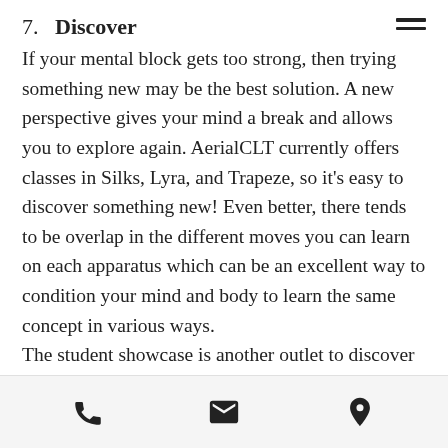7.   Discover
If your mental block gets too strong, then trying something new may be the best solution. A new perspective gives your mind a break and allows you to explore again. AerialCLT currently offers classes in Silks, Lyra, and Trapeze, so it's easy to discover something new! Even better, there tends to be overlap in the different moves you can learn on each apparatus which can be an excellent way to condition your mind and body to learn the same concept in various ways.
The student showcase is another outlet to discover and gain new perspective; a performance has you think through moves in a different way since you need to focus
Phone | Email | Location